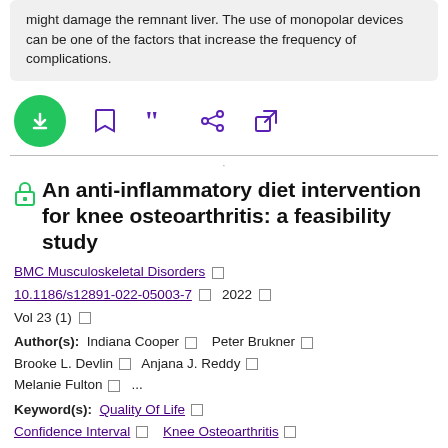might damage the remnant liver. The use of monopolar devices can be one of the factors that increase the frequency of complications.
[Figure (other): Action bar with download (green circle), bookmark, quote, share, and external link icons]
An anti-inflammatory diet intervention for knee osteoarthritis: a feasibility study
BMC Musculoskeletal Disorders □ 10.1186/s12891-022-05003-7 □ 2022 □ Vol 23 (1) □
Author(s): Indiana Cooper □ Peter Brukner □ Brooke L. Devlin □ Anjana J. Reddy □ Melanie Fulton □ ...
Keyword(s): Quality Of Life □ Confidence Interval □ Knee Osteoarthritis □ Drop Out □ Symptomatic Knee Osteoarthritis □ Symptomatic Knee □ Anti Inflammatory □